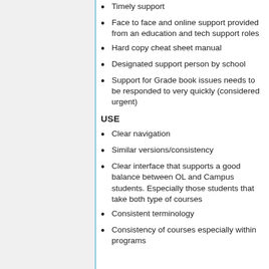Timely support
Face to face and online support provided from an education and tech support roles
Hard copy cheat sheet manual
Designated support person by school
Support for Grade book issues needs to be responded to very quickly (considered urgent)
USE
Clear navigation
Similar versions/consistency
Clear interface that supports a good balance between OL and Campus students. Especially those students that take both type of courses
Consistent terminology
Consistency of courses especially within programs